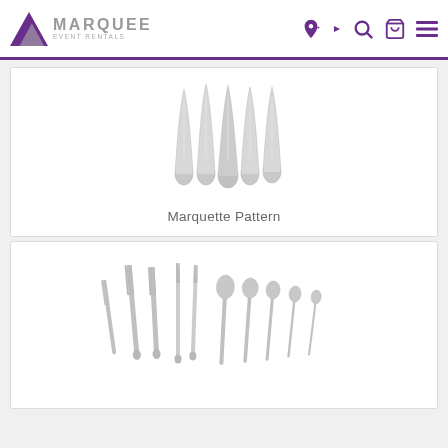Marquee Event Rentals
[Figure (photo): Silver flatware handles (spoons and forks) photographed from above, showing decorative Marquette pattern handles arranged in a row]
Marquette Pattern
[Figure (photo): Full set of silver flatware including forks, knives, and spoons arranged in a row on a white background]